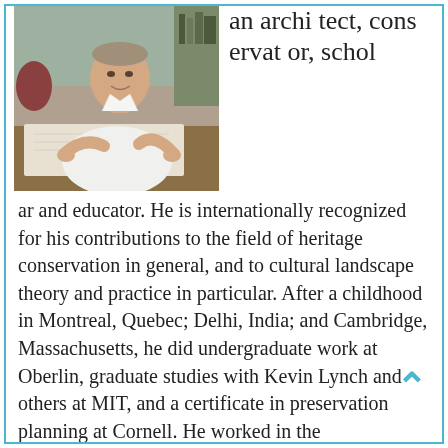[Figure (photo): A man in a white long-sleeve shirt sitting at a desk with architectural drawings/blueprints, gesturing with his hands, in an office environment.]
an architect, conservator, scholar and educator. He is internationally recognized for his contributions to the field of heritage conservation in general, and to cultural landscape theory and practice in particular. After a childhood in Montreal, Quebec; Delhi, India; and Cambridge, Massachusetts, he did undergraduate work at Oberlin, graduate studies with Kevin Lynch and others at MIT, and a certificate in preservation planning at Cornell. He worked in the contemporary design field with Peter